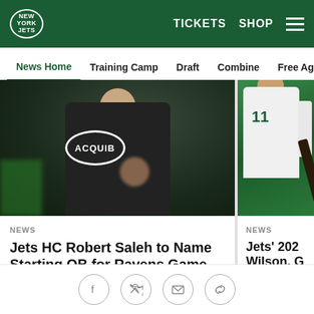New York Jets — TICKETS  SHOP
News Home
Training Camp
Draft
Combine
Free Agency
Fe
[Figure (photo): Person wearing a dark hoodie with a New York Jets football logo oval on the chest, standing on a field]
NEWS
Jets HC Robert Saleh to Name Starting QB for Ravens Game on Wednesday
Zach Wilson Worked Out and Might Play vs. Baltimore in Opener on Sunday
[Figure (photo): Jets player in white jersey holding equipment, partial view, green background]
NEWS
Jets' 202 Wilson, G Justin Ha
Robert Saleh Nominated W